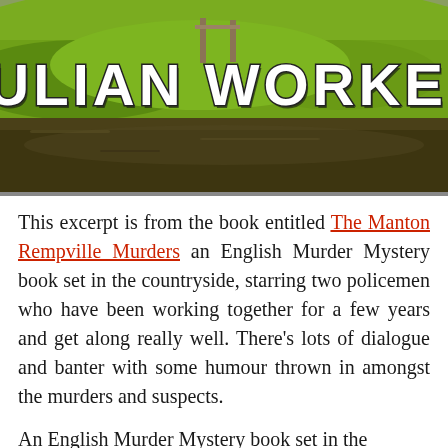[Figure (photo): Book cover photo showing a green countryside landscape with a river/water in the foreground and lush green hills/grass in the background. White wooden structure visible in the distance. Large white bold text 'JULIAN WORKER' overlaid on the lower portion of the image.]
This excerpt is from the book entitled The Manton Rempville Murders an English Murder Mystery book set in the countryside, starring two policemen who have been working together for a few years and get along really well. There's lots of dialogue and banter with some humour thrown in amongst the murders and suspects.
An English Murder Mystery book set in the